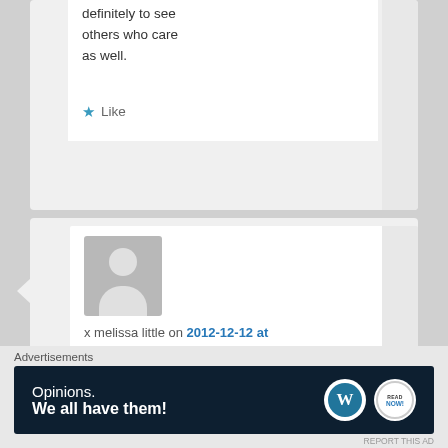definitely to see others who care as well.
Like
x melissa little on 2012-12-12 at 19:58 said:
What an amazing story. This
Advertisements
[Figure (screenshot): Advertisement banner: 'Opinions. We all have them!' with WordPress and Read Now logos on dark navy background]